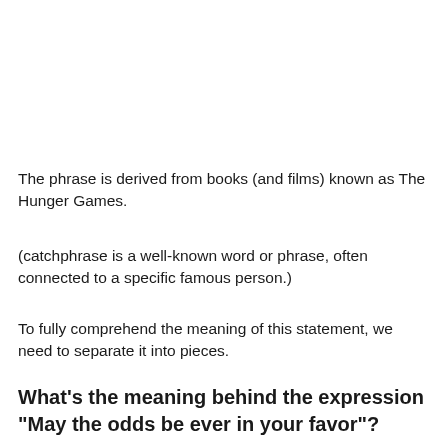The phrase is derived from books (and films) known as The Hunger Games.
(catchphrase is a well-known word or phrase, often connected to a specific famous person.)
To fully comprehend the meaning of this statement, we need to separate it into pieces.
What’s the meaning behind the expression “May the odds be ever in your favor”?